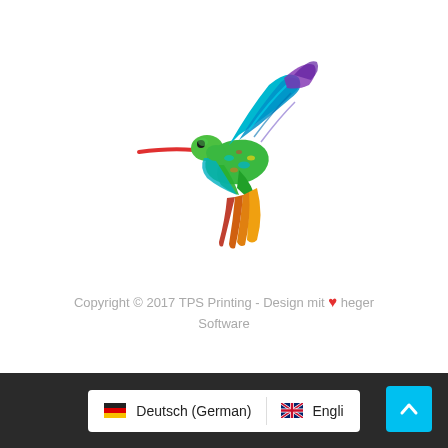[Figure (illustration): Colorful hummingbird illustration with rainbow plumage (green, teal, blue, purple wings; green body with yellow/red spots; red beak; yellow-orange tail feathers) flying to the left against a white background.]
Copyright © 2017 TPS Printing - Design mit ❤ heger Software
🇩🇪 Deutsch (German)  🇬🇧 Engli...